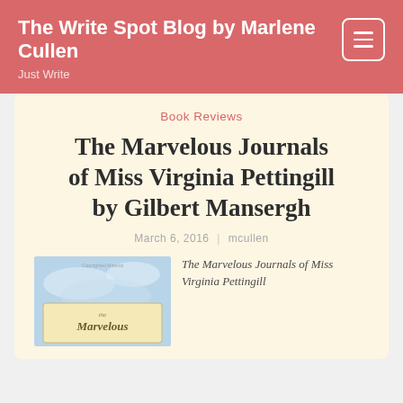The Write Spot Blog by Marlene Cullen — Just Write
Book Reviews
The Marvelous Journals of Miss Virginia Pettingill by Gilbert Mansergh
March 6, 2016  |  mcullen
[Figure (photo): Book cover of The Marvelous Journals of Miss Virginia Pettingill, showing stylized cursive text 'the Marvelous' on a pale background with a sky scene]
The Marvelous Journals of Miss Virginia Pettingill